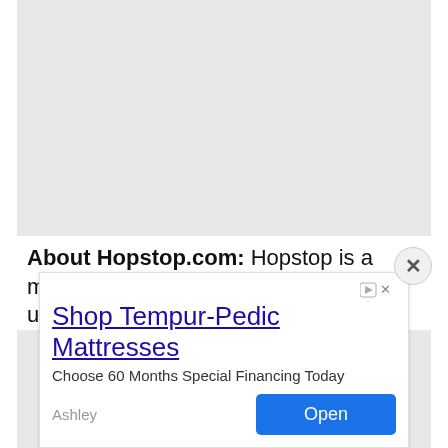[Figure (screenshot): Large grey content area representing a blank/loading main content region of the Hopstop.com mobile app page]
About Hopstop.com: Hopstop is a mobile application that helps millions of users navigate
[Figure (screenshot): Advertisement banner: Shop Tempur-Pedic Mattresses. Choose 60 Months Special Financing Today. Ashley. Open button.]